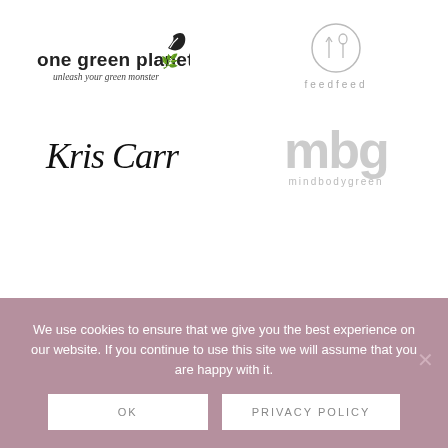[Figure (logo): One Green Planet logo - 'one green planet, unleash your green monster' with leaf icon]
[Figure (logo): feedfeed logo - circular fork/spoon icon with 'feedfeed' text in letter-spaced gray]
[Figure (logo): Kris Carr cursive logo]
[Figure (logo): mindbodygreen (mbg) logo - large gray letters 'mbg' with 'mindbodygreen' below]
Food Advertising by GourmetAds
We use cookies to ensure that we give you the best experience on our website. If you continue to use this site we will assume that you are happy with it.
OK
PRIVACY POLICY